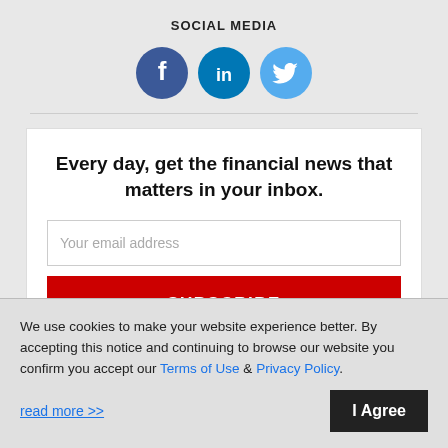SOCIAL MEDIA
[Figure (illustration): Three circular social media icons: Facebook (dark blue), LinkedIn (medium blue), Twitter (light blue)]
Every day, get the financial news that matters in your inbox.
Your email address
SUBSCRIBE
We use cookies to make your website experience better. By accepting this notice and continuing to browse our website you confirm you accept our Terms of Use & Privacy Policy.
read more >>
I Agree